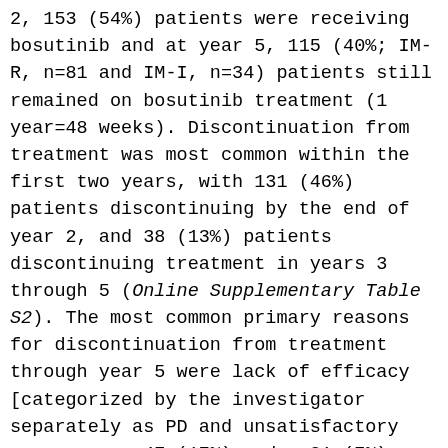2, 153 (54%) patients were receiving bosutinib and at year 5, 115 (40%; IM-R, n=81 and IM-I, n=34) patients still remained on bosutinib treatment (1 year=48 weeks). Discontinuation from treatment was most common within the first two years, with 131 (46%) patients discontinuing by the end of year 2, and 38 (13%) patients discontinuing treatment in years 3 through 5 (Online Supplementary Table S2). The most common primary reasons for discontinuation from treatment through year 5 were lack of efficacy [categorized by the investigator separately as PD and unsatisfactory response; n=47 (17%) and n=21 (7%), respectively], AE [n=64 (23%)], and patient request [n=19 (7%)]. The most common reasons for discontinuation from treatment in years 3 through 5 were PD and unsatisfactory response in year 3, AE and PD in year 4, and unsatisfactory response and death in year 5. Overall, younger patients (aged <65